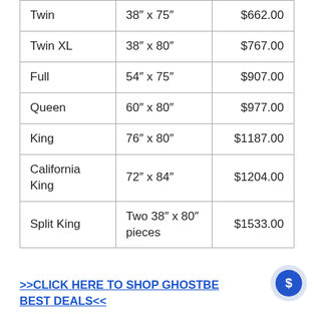| Twin | 38″ x 75″ | $662.00 |
| Twin XL | 38″ x 80″ | $767.00 |
| Full | 54″ x 75″ | $907.00 |
| Queen | 60″ x 80″ | $977.00 |
| King | 76″ x 80″ | $1187.00 |
| California King | 72″ x 84″ | $1204.00 |
| Split King | Two 38″ x 80″ pieces | $1533.00 |
>>CLICK HERE TO SHOP GHOSTBE BEST DEALS<<